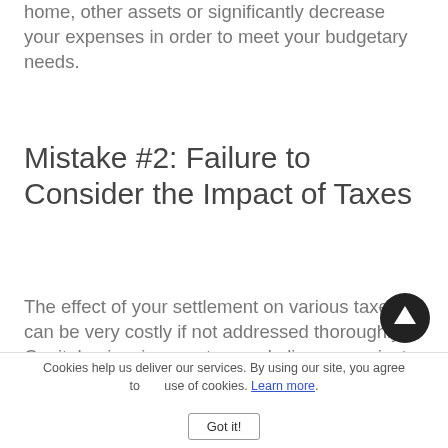home, other assets or significantly decrease your expenses in order to meet your budgetary needs.
Mistake #2: Failure to Consider the Impact of Taxes
The effect of your settlement on various taxes can be very costly if not addressed thoroughly. Capital gains, income tax, and alimony are just a few of the areas th
Cookies help us deliver our services. By using our site, you agree to use of cookies. Learn more.
Got it!